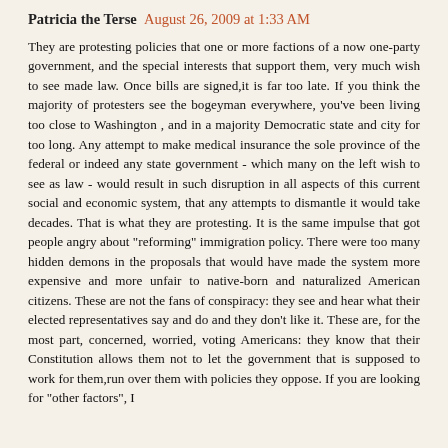Patricia the Terse  August 26, 2009 at 1:33 AM
They are protesting policies that one or more factions of a now one-party government, and the special interests that support them, very much wish to see made law. Once bills are signed,it is far too late. If you think the majority of protesters see the bogeyman everywhere, you've been living too close to Washington , and in a majority Democratic state and city for too long. Any attempt to make medical insurance the sole province of the federal or indeed any state government - which many on the left wish to see as law - would result in such disruption in all aspects of this current social and economic system, that any attempts to dismantle it would take decades. That is what they are protesting. It is the same impulse that got people angry about "reforming" immigration policy. There were too many hidden demons in the proposals that would have made the system more expensive and more unfair to native-born and naturalized American citizens. These are not the fans of conspiracy: they see and hear what their elected representatives say and do and they don't like it. These are, for the most part, concerned, worried, voting Americans: they know that their Constitution allows them not to let the government that is supposed to work for them,run over them with policies they oppose. If you are looking for "other factors", I